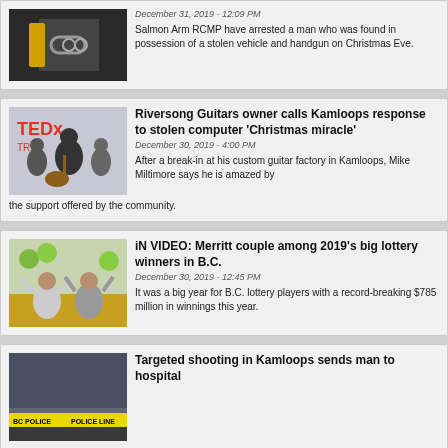[Figure (photo): Handcuffed person being led away, partial view showing handcuffs]
December 31, 2019 - 12:09 PM
Salmon Arm RCMP have arrested a man who was found in possession of a stolen vehicle and handgun on Christmas Eve.
[Figure (photo): Group of people at TEDx TRU event posing with musical instruments]
Riversong Guitars owner calls Kamloops response to stolen computer 'Christmas miracle'
December 30, 2019 - 4:00 PM
After a break-in at his custom guitar factory in Kamloops, Mike Miltimore says he is amazed by the support offered by the community.
[Figure (photo): A couple celebrating, raising arms in front of balloons]
iN VIDEO: Merritt couple among 2019's big lottery winners in B.C.
December 30, 2019 - 12:45 PM
It was a big year for B.C. lottery players with a record-breaking $785 million in winnings this year.
[Figure (photo): BC Police crime scene tape]
Targeted shooting in Kamloops sends man to hospital